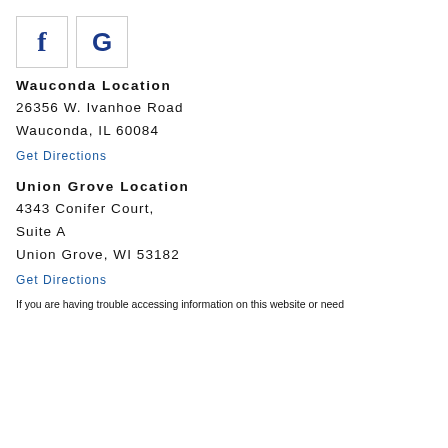[Figure (logo): Facebook 'f' icon in a bordered square and Google 'G' icon in a bordered square, side by side]
Wauconda Location
26356 W. Ivanhoe Road
Wauconda, IL 60084
Get Directions
Union Grove Location
4343 Conifer Court,
Suite A
Union Grove, WI 53182
Get Directions
If you are having trouble accessing information on this website or need